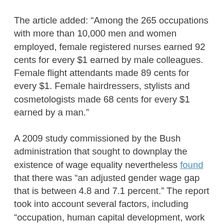The article added: “Among the 265 occupations with more than 10,000 men and women employed, female registered nurses earned 92 cents for every $1 earned by male colleagues. Female flight attendants made 89 cents for every $1. Female hairdressers, stylists and cosmetologists made 68 cents for every $1 earned by a man.”
A 2009 study commissioned by the Bush administration that sought to downplay the existence of wage equality nevertheless found that there was “an adjusted gender wage gap that is between 4.8 and 7.1 percent.” The report took into account several factors, including “occupation, human capital development, work experience, career interruption, motherhood, and industry sector.”
Angle also claimed that “young female college graduates now often make more than men.” But as Slate noted in its